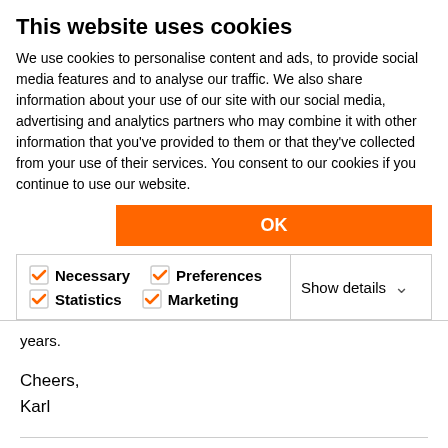This website uses cookies
We use cookies to personalise content and ads, to provide social media features and to analyse our traffic. We also share information about your use of our site with our social media, advertising and analytics partners who may combine it with other information that you've provided to them or that they've collected from your use of their services. You consent to our cookies if you continue to use our website.
OK
Necessary   Preferences   Statistics   Marketing   Show details
years.
Cheers,
Karl
One of the forum moderators  •  AC 26 USA and earlier  •  MacOS 11.6.8, iMac Pro 10-Core, Radeon Pro Vega 64